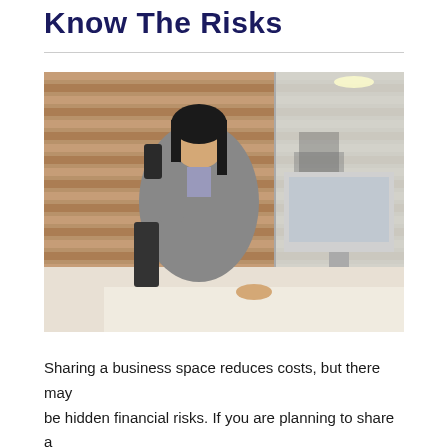Know The Risks
[Figure (photo): A young Asian businesswoman in a grey blazer sitting at a desk in a modern office, talking on a landline telephone while looking at a computer monitor. Behind her are wooden horizontal slat panels, and in the background a glass partition reveals an open office space.]
Sharing a business space reduces costs, but there may be hidden financial risks. If you are planning to share a